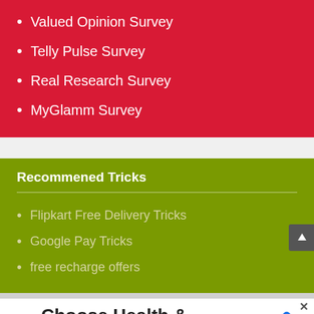Valued Opinion Survey
Telly Pulse Survey
Real Research Survey
MyGlamm Survey
Recommened Tricks
Flipkart Free Delivery Tricks
Google Pay Tricks
free recharge offers
[Figure (infographic): Walgreens advertisement: Choose Health & Wellness, Walgreens Photo with logo and navigation icon]